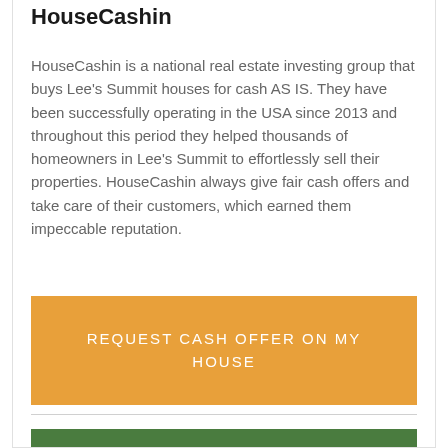HouseCashin
HouseCashin is a national real estate investing group that buys Lee's Summit houses for cash AS IS. They have been successfully operating in the USA since 2013 and throughout this period they helped thousands of homeowners in Lee's Summit to effortlessly sell their properties. HouseCashin always give fair cash offers and take care of their customers, which earned them impeccable reputation.
[Figure (other): Orange call-to-action button with text REQUEST CASH OFFER ON MY HOUSE in uppercase white letters]